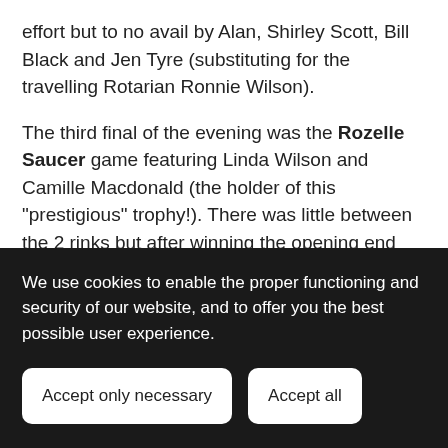effort but to no avail by Alan, Shirley Scott, Bill Black and Jen Tyre (substituting for the travelling Rotarian Ronnie Wilson).
The third final of the evening was the Rozelle Saucer game featuring Linda Wilson and Camille Macdonald (the holder of this "prestigious" trophy!). There was little between the 2 rinks but after winning the opening end Linda always managed to keep ahead whilst for Camille there was the occasional opportunity to bring things level
We use cookies to enable the proper functioning and security of our website, and to offer you the best possible user experience.
Accept only necessary
Accept all